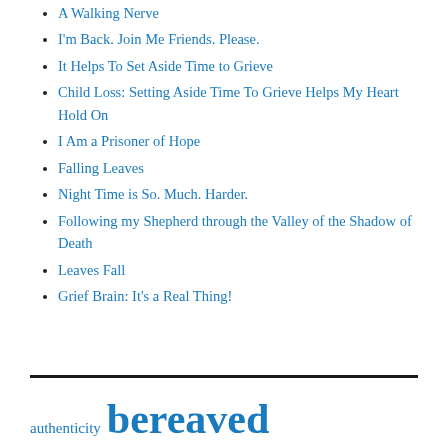A Walking Nerve
I'm Back. Join Me Friends. Please.
It Helps To Set Aside Time to Grieve
Child Loss: Setting Aside Time To Grieve Helps My Heart Hold On
I Am a Prisoner of Hope
Falling Leaves
Night Time is So. Much. Harder.
Following my Shepherd through the Valley of the Shadow of Death
Leaves Fall
Grief Brain: It's a Real Thing!
authenticity bereaved